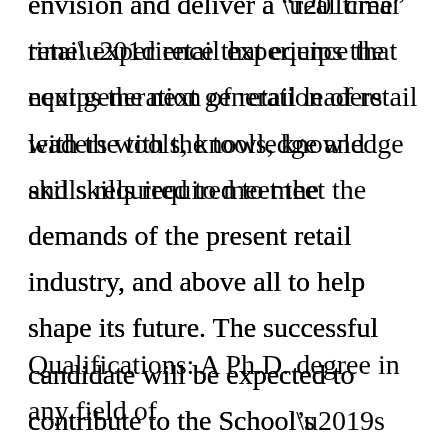envision and deliver a “real time” retail experience that equips the next generation of retail leaders with the tools, knowledge and skills required to meet the demands of the present retail industry, and above all to help shape its future. The successful candidate will be expected to contribute to the School’s research, teaching and outreach goals, while also being affiliated with her/his own area of expertise.
Qualifications: A Ph.D. degree in any field of